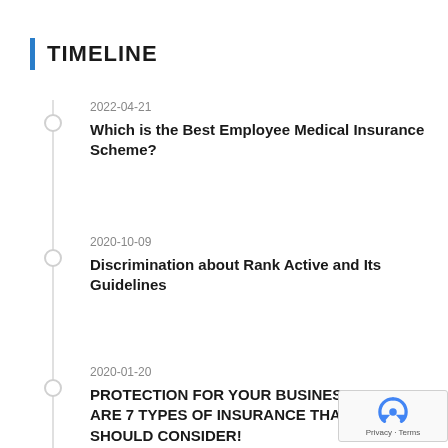TIMELINE
2022-04-21
Which is the Best Employee Medical Insurance Scheme?
2020-10-09
Discrimination about Rank Active and Its Guidelines
2020-01-20
PROTECTION FOR YOUR BUSINESS?  HERE ARE 7 TYPES OF INSURANCE THAT YOU SHOULD CONSIDER!
2019-12-19